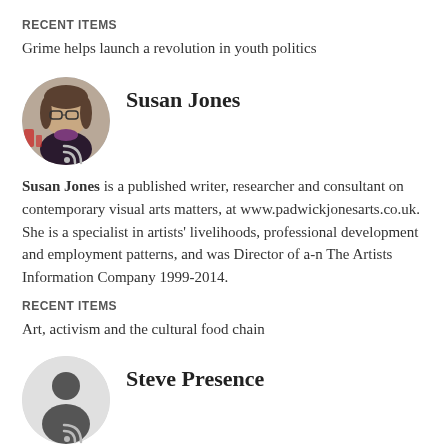RECENT ITEMS
Grime helps launch a revolution in youth politics
Susan Jones
Susan Jones is a published writer, researcher and consultant on contemporary visual arts matters, at www.padwickjonesarts.co.uk. She is a specialist in artists' livelihoods, professional development and employment patterns, and was Director of a-n The Artists Information Company 1999-2014.
RECENT ITEMS
Art, activism and the cultural food chain
Steve Presence